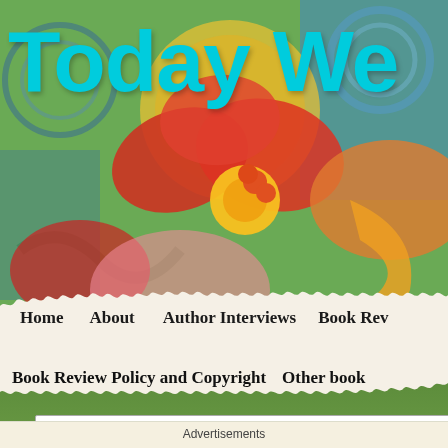[Figure (illustration): Colorful decorative website header background with floral and circular patterns in red, orange, yellow, green, and blue tones]
Today We
Home   About   Author Interviews   Book Rev
Book Review Policy and Copyright   Other book
Privacy & Cookies: This site uses cookies. By continuing to use this website, you agree to their use.
To find out more, including how to control cookies, see here: Cookie Policy
Close and accept
Advertisements